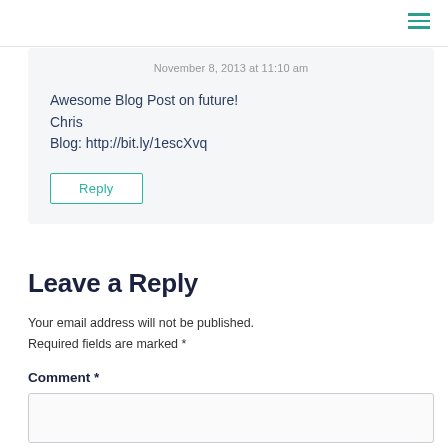November 8, 2013 at 11:10 am
Awesome Blog Post on future!
Chris
Blog: http://bit.ly/1escXvq
Reply
Leave a Reply
Your email address will not be published. Required fields are marked *
Comment *